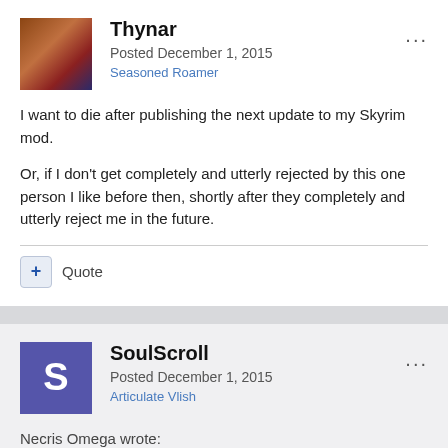Thynar
Posted December 1, 2015
Seasoned Roamer
I want to die after publishing the next update to my Skyrim mod.
Or, if I don't get completely and utterly rejected by this one person I like before then, shortly after they completely and utterly reject me in the future.
Quote
SoulScroll
Posted December 1, 2015
Articulate Vlish
Necris Omega wrote:
"When I throw out the term "mortal existence" I'm not being